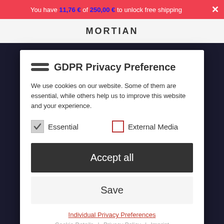You have 11,76 € of 250,00 € to unlock free shipping ×
GDPR Privacy Preference
We use cookies on our website. Some of them are essential, while others help us to improve this website and your experience.
Essential (checked)
External Media (unchecked)
Accept all
Save
Individual Privacy Preferences
Cookie Details | Privacy Policy | Imprint